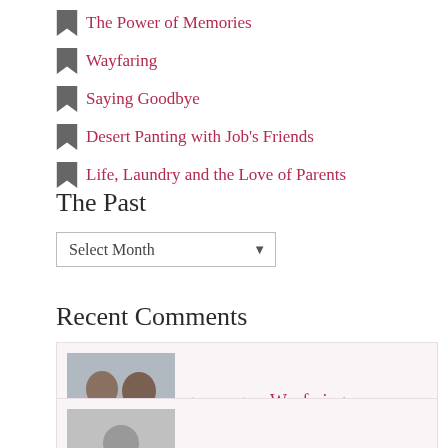The Power of Memories
Wayfaring
Saying Goodbye
Desert Panting with Job's Friends
Life, Laundry and the Love of Parents
The Past
[Figure (screenshot): Select Month dropdown control]
Recent Comments
treenewt on Wayfaring
Deb on Wayfaring